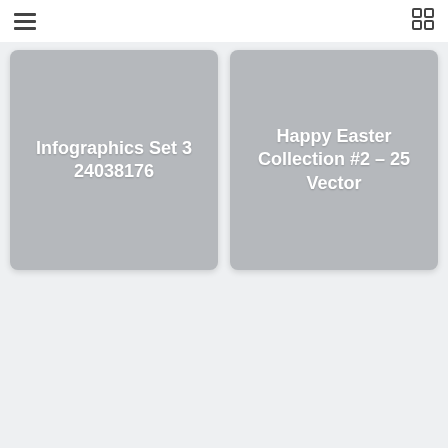[Figure (illustration): Card thumbnail with gray background labeled 'Infographics Set 3 24038176']
[Figure (illustration): Card thumbnail with gray background labeled 'Happy Easter Collection #2 – 25 Vector']